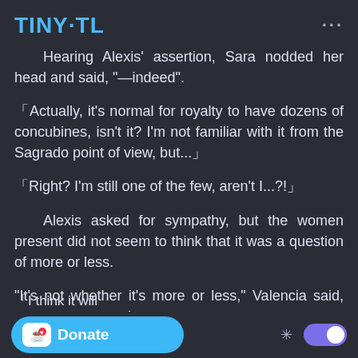TINY·TL
Hearing Alexis' assertion, Sara nodded her head and said, "—indeed".
「Actually, it's normal for royalty to have dozens of concubines, isn't it? I'm not familiar with it from the Sagrado point of view, but...」
「Right? I'm still one of the few, aren't I...?!」
Alexis asked for sympathy, but the women present did not seem to think that it was a question of more or less.
"It's not whether it's more or less," Valencia said, ...ords.
「I think it will...